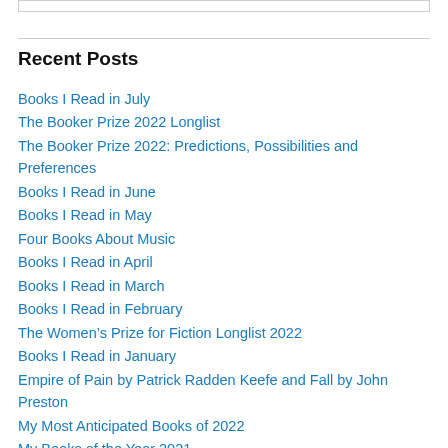Recent Posts
Books I Read in July
The Booker Prize 2022 Longlist
The Booker Prize 2022: Predictions, Possibilities and Preferences
Books I Read in June
Books I Read in May
Four Books About Music
Books I Read in April
Books I Read in March
Books I Read in February
The Women’s Prize for Fiction Longlist 2022
Books I Read in January
Empire of Pain by Patrick Radden Keefe and Fall by John Preston
My Most Anticipated Books of 2022
My Books of the Year 2021
Autumn Reading: Part Two
Autumn Reading: Part One